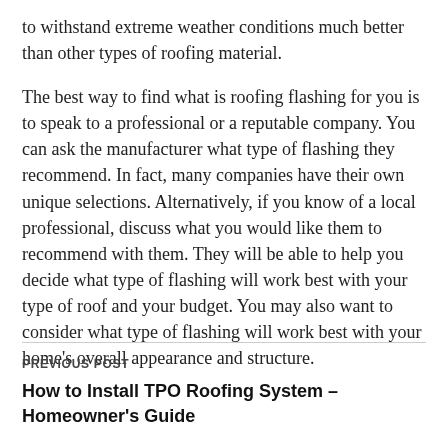to withstand extreme weather conditions much better than other types of roofing material.
The best way to find what is roofing flashing for you is to speak to a professional or a reputable company. You can ask the manufacturer what type of flashing they recommend. In fact, many companies have their own unique selections. Alternatively, if you know of a local professional, discuss what you would like them to recommend with them. They will be able to help you decide what type of flashing will work best with your type of roof and your budget. You may also want to consider what type of flashing will work best with your home's overall appearance and structure.
PREVIOUS POST
How to Install TPO Roofing System – Homeowner's Guide